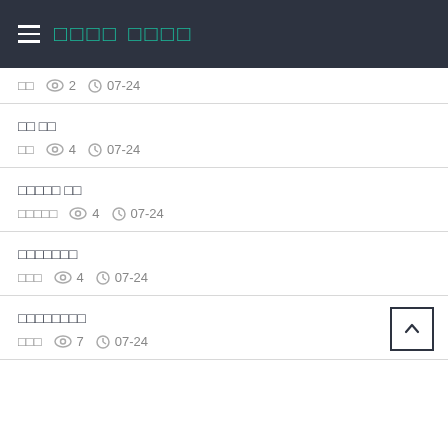앱 메뉴 목록
익명  👁 2  🕐 07-24
질문 게시판
익명  👁 4  🕐 07-24
자유게시판 글쓰기
익명익명익명  👁 4  🕐 07-24
자유자유자유자유
익명익명  👁 4  🕐 07-24
익명익명익명익명익명
익명익명  👁 7  🕐 07-24